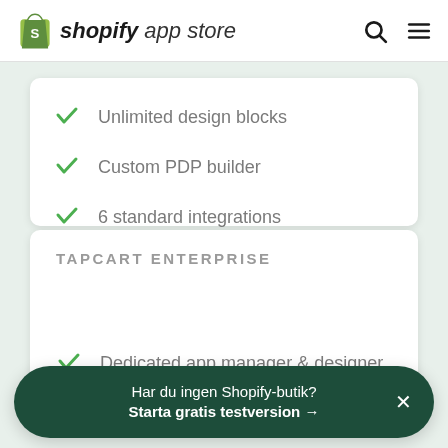shopify app store
Unlimited design blocks
Custom PDP builder
6 standard integrations
Implementation specialist
TAPCART ENTERPRISE
Dedicated app manager & designer
Har du ingen Shopify-butik? Starta gratis testversion →